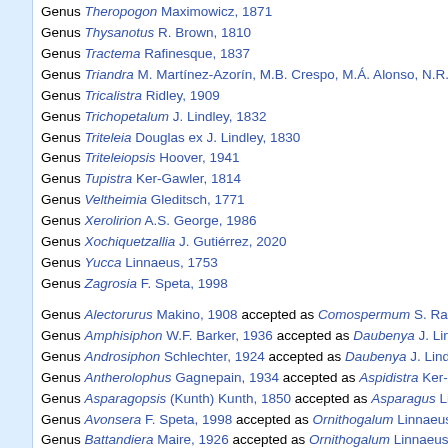Genus Theropogon Maximowicz, 1871
Genus Thysanotus R. Brown, 1810
Genus Tractema Rafinesque, 1837
Genus Triandra M. Martínez-Azorín, M.B. Crespo, M.Á. Alonso, N.R. C…
Genus Tricalistra Ridley, 1909
Genus Trichopetalum J. Lindley, 1832
Genus Triteleia Douglas ex J. Lindley, 1830
Genus Triteleiopsis Hoover, 1941
Genus Tupistra Ker-Gawler, 1814
Genus Veltheimia Gleditsch, 1771
Genus Xerolirion A.S. George, 1986
Genus Xochiquetzallia J. Gutiérrez, 2020
Genus Yucca Linnaeus, 1753
Genus Zagrosia F. Speta, 1998
Genus Alectorurus Makino, 1908 accepted as Comospermum S. Raus…
Genus Amphisiphon W.F. Barker, 1936 accepted as Daubenya J. Lindl…
Genus Androsiphon Schlechter, 1924 accepted as Daubenya J. Lindley…
Genus Antherolophus Gagnepain, 1934 accepted as Aspidistra Ker-Ga…
Genus Asparagopsis (Kunth) Kunth, 1850 accepted as Asparagus Linn…
Genus Avonsera F. Speta, 1998 accepted as Ornithogalum Linnaeus, 1…
Genus Battandiera Maire, 1926 accepted as Ornithogalum Linnaeus, 1…
Genus Bidwellia W. Herbert, 1844 accepted as Caesia R. Brown, 1810
Genus Bidwillia W. Herbert, 1844 accepted as Caesia R. Brown, 1810
Genus Boosia F. Speta, 2001 accepted as Drimia N.J. Jacquin ex Wild…
Genus Botryanthus Kunth, 1843 accepted as Muscari P. Miller, 1754
Genus Bottionea Colla, 1834 accepted as Trichopetalum J. Lindley, 1…